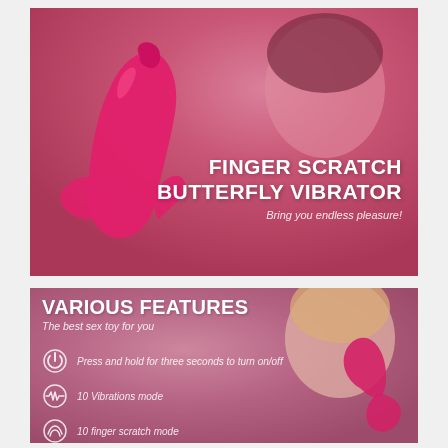[Figure (photo): Top product banner showing a pink finger scratch butterfly vibrator product against a pink-tinted background with a woman in background. Text overlay reads FINGER SCRATCH BUTTERFLY VIBRATOR and Bring you endless pleasure!]
[Figure (infographic): Bottom panel showing various features section with a blonde woman holding a pink vibrator. Features listed: power button icon with 'Press and hold for three seconds to turn on/off', vibration wave icon with '10 Vibrations mode', and a third icon with '10 finger scratch mode' partially visible.]